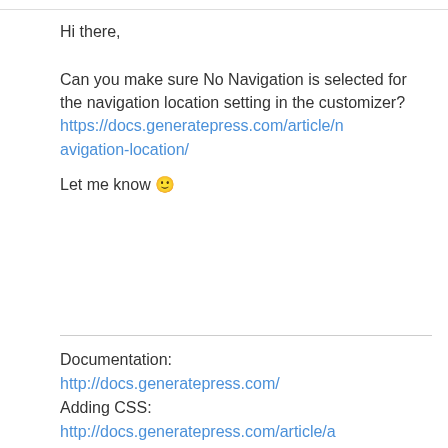Hi there,
Can you make sure No Navigation is selected for the navigation location setting in the customizer? https://docs.generatepress.com/article/navigation-location/
Let me know 🙂
Documentation:
http://docs.generatepress.com/
Adding CSS:
http://docs.generatepress.com/article/adding-css/